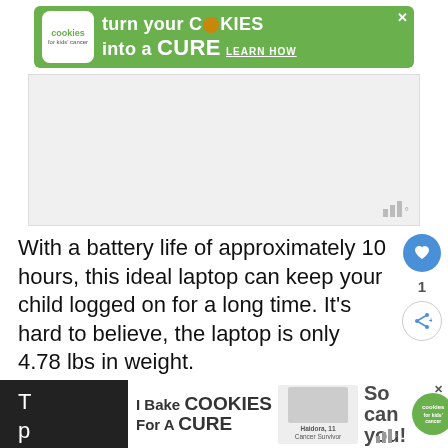[Figure (other): Green advertisement banner for 'cookies for kids cancer' — turn your COOKIES into a CURE LEARN HOW]
[Figure (other): Gray advertisement placeholder block with weather/signal icon in bottom right corner]
With a battery life of approximately 10 hours, this ideal laptop can keep your child logged on for a long time. It's hard to believe, the laptop is only 4.78 lbs in weight.
Even with all of the security it provides laptop is remarkably light.
[Figure (other): WHAT'S NEXT arrow label with thumbnail image and text: 5 Best Laptop for Compute...]
[Figure (other): Bottom advertisement bar: I Bake COOKIES For A CURE — Haidora, 11 Cancer Survivor — So can you! — cookies for kids cancer logo with close button]